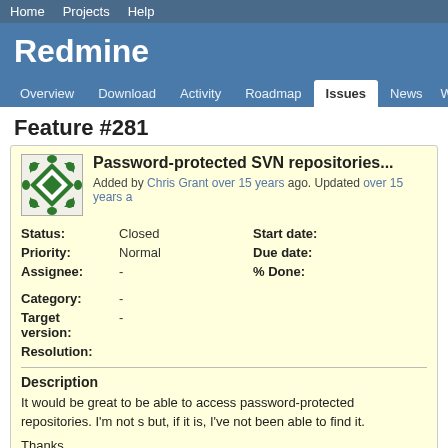Home  Projects  Help
Redmine
Overview  Download  Activity  Roadmap  Issues  News  W
Feature #281
Password-protected SVN repositories...
Added by Chris Grant over 15 years ago. Updated over 15 years a
Status: Closed
Priority: Normal
Assignee: -
Category: -
Target version: -
Resolution:
Start date:
Due date:
% Done:
Description
It would be great to be able to access password-protected repositories. I'm not s but, if it is, I've not been able to find it.
Thanks,
Chris